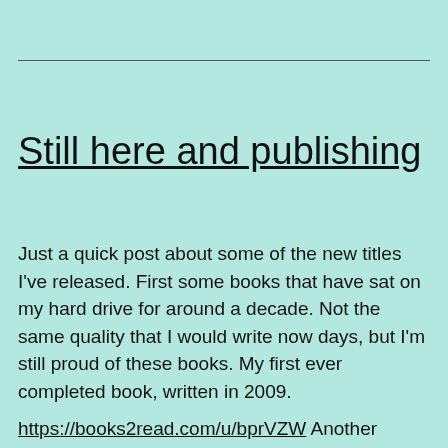Still here and publishing
Just a quick post about some of the new titles I've released. First some books that have sat on my hard drive for around a decade. Not the same quality that I would write now days, but I'm still proud of these books. My first ever completed book, written in 2009.
https://books2read.com/u/bprVZW Another